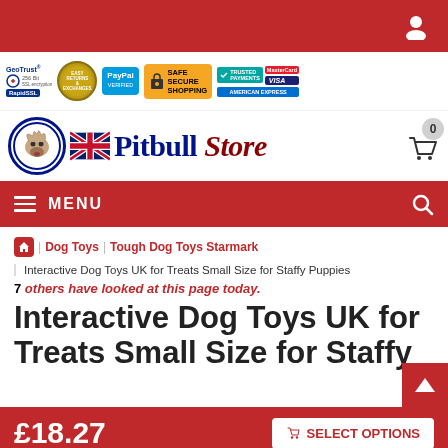Pitbull Store - top navigation bar with user icon
[Figure (infographic): Trust badges: GeoTrust 256bit SSL, RapidSSL, Easy Returns & Exchanges, PayPal Verified, Safe Secure Shopping, Trusted Payments, American Express, MasterCard, Visa]
[Figure (logo): Pitbull Store logo with UK flag and dog emblem]
MENU navigation bar with hamburger icon and search icon
Dog Toys > Tough Dog Toys Starmark > Interactive Dog Toys UK for Treats Small Size for Staffy Puppies
7 others have looked at this page today.
Interactive Dog Toys UK for Treats Small Size for Staffy Puppies
£18.27
SELECT OPTIONS